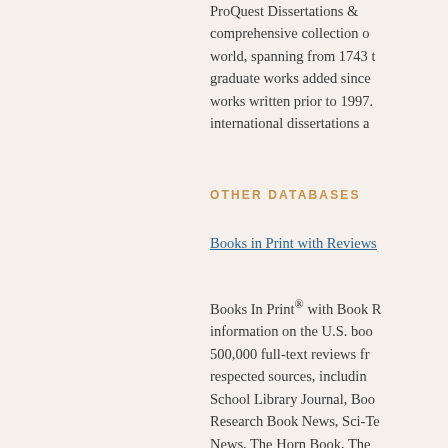ProQuest Dissertations & comprehensive collection o world, spanning from 1743 t graduate works added since works written prior to 1997. international dissertations a
OTHER DATABASES
Books in Print with Reviews
Books In Print® with Book R information on the U.S. boo 500,000 full-text reviews fr respected sources, includin School Library Journal, Boo Research Book News, Sci-Te News, The Horn Book, The Plus, there's a notation if a